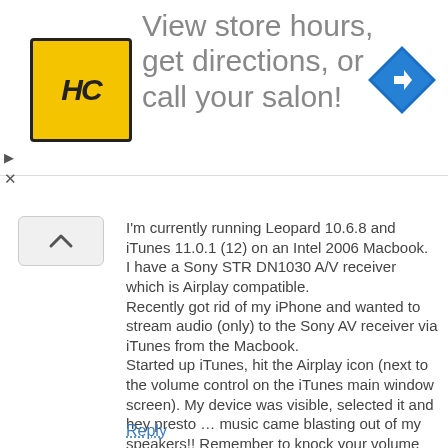[Figure (advertisement): Ad banner with HC logo (yellow square with black stylized HC text), large gray text reading 'View store hours, get directions, or call your salon!', and a blue diamond turn arrow icon on the right.]
I'm currently running Leopard 10.6.8 and iTunes 11.0.1 (12) on an Intel 2006 Macbook.
I have a Sony STR DN1030 A/V receiver which is Airplay compatible.
Recently got rid of my iPhone and wanted to stream audio (only) to the Sony AV receiver via iTunes from the Macbook.
Started up iTunes, hit the Airplay icon (next to the volume control on the iTunes main window screen). My device was visible, selected it and hey presto … music came blasting out of my speakers!! Remember to knock your volume down on iTunes or you will literally get blasted with a wall of sound … and your heart my skip several beats too!
iTunes radio works as well.
Not tried video streaming or mirroring. I'm guessing you probably need Airparrot. I only wanted audio streaming.
Point is … audio streaming works fine on my Leopard and it is regarded as one of the older Macs.
Reply